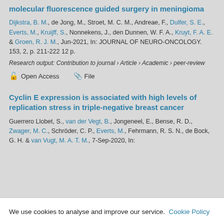molecular fluorescence guided surgery in meningioma
Dijkstra, B. M., de Jong, M., Stroet, M. C. M., Andreae, F., Dulfer, S. E., Everts, M., Kruijff, S., Nonnekens, J., den Dunnen, W. F. A., Kruyt, F. A. E. & Groen, R. J. M., Jun-2021, In: JOURNAL OF NEURO-ONCOLOGY. 153, 2, p. 211-222 12 p.
Research output: Contribution to journal › Article › Academic › peer-review
Open Access   File
Cyclin E expression is associated with high levels of replication stress in triple-negative breast cancer
Guerrero Llobet, S., van der Vegt, B., Jongeneel, E., Bense, R. D., Zwager, M. C., Schröder, C. P., Everts, M., Fehrmann, R. S. N., de Bock, G. H. & van Vugt, M. A. T. M., 7-Sep-2020, In:
We use cookies to analyse and improve our service. Cookie Policy